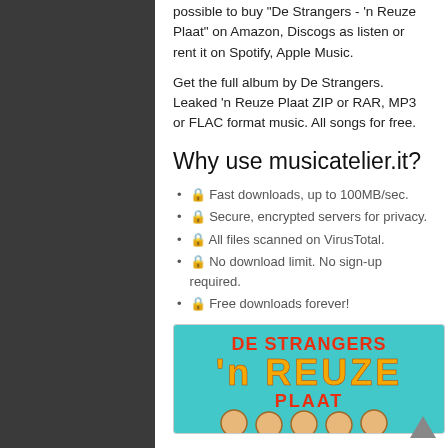possible to buy 'De Strangers - 'n Reuze Plaat' on Amazon, Discogs as listen or rent it on Spotify, Apple Music.
Get the full album by De Strangers. Leaked 'n Reuze Plaat ZIP or RAR, MP3 or FLAC format music. All songs for free.
Why use musicatelier.it?
🔒 Fast downloads, up to 100MB/sec.
🔒 Secure, encrypted servers for privacy.
🔒 All files scanned on ViruTotal.
🔒 No download limit. No sign-up required.
🔒 Free downloads forever!
[Figure (illustration): Album cover for De Strangers - 'n Reuze Plaat with teal background, colorful text and cartoon faces]